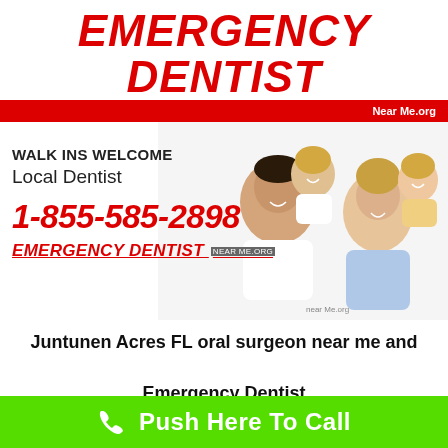EMERGENCY DENTIST Near Me.org
[Figure (photo): Header logo with red 'EMERGENCY DENTIST' italic bold text on white background, with a red bar below reading 'Near Me.org' in white text on the right.]
[Figure (photo): A smiling family of four (father, mother, and two children) photographed together on a white background, positioned on the right side of a promotional panel. Overlaid on the left is text: 'WALK INS WELCOME', 'Local Dentist', phone number '1-855-585-2898', and 'EMERGENCY DENTIST near me.org' underlined.]
Juntunen Acres FL oral surgeon near me and Emergency Dentist
Juntunen Acres FL oral surgeon near me, Toothache, Wisdom teeth removal, and Gum disease treatment. Local 24 hour emergency dentist office. Urgent care
[Figure (infographic): Green call-to-action bar at the bottom with a white phone icon and white text 'Push Here To Call']